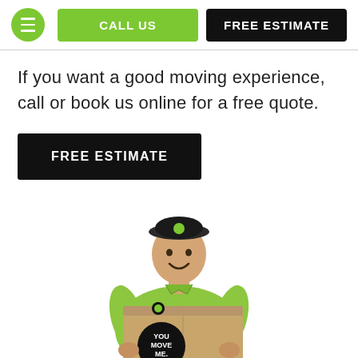CALL US | FREE ESTIMATE
If you want a good moving experience, call or book us online for a free quote.
FREE ESTIMATE
[Figure (photo): A smiling man in a green polo shirt and dark cap holding a cardboard moving box labeled 'YOU MOVE ME.' with a person silhouette logo below]